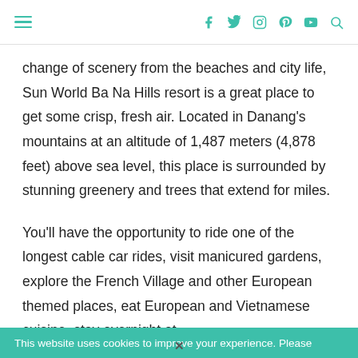[hamburger menu] [social icons: facebook, twitter, instagram, pinterest, youtube, search]
change of scenery from the beaches and city life, Sun World Ba Na Hills resort is a great place to get some crisp, fresh air. Located in Danang's mountains at an altitude of 1,487 meters (4,878 feet) above sea level, this place is surrounded by stunning greenery and trees that extend for miles.
You'll have the opportunity to ride one of the longest cable car rides, visit manicured gardens, explore the French Village and other European themed places, eat European and Vietnamese cuisine, stay overnight at
This website uses cookies to improve your experience. Please